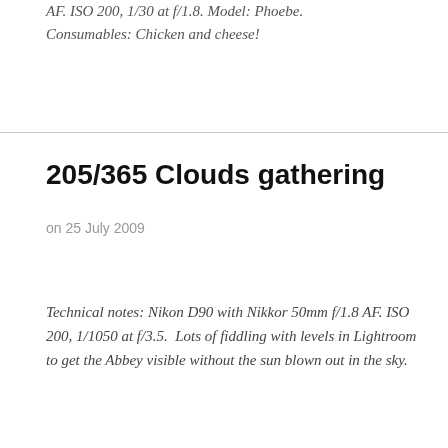AF. ISO 200, 1/30 at f/1.8. Model: Phoebe. Consumables: Chicken and cheese!
205/365 Clouds gathering
on 25 July 2009
Technical notes: Nikon D90 with Nikkor 50mm f/1.8 AF. ISO 200, 1/1050 at f/3.5.  Lots of fiddling with levels in Lightroom to get the Abbey visible without the sun blown out in the sky.